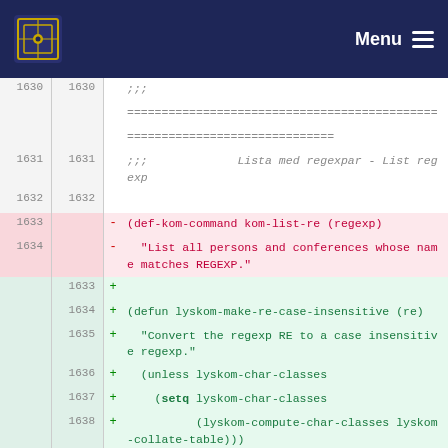Menu
1630  1630  ;;;
           =============================================
           ==============================
1631  1631  ;;;             Lista med regexpar - List regexp
1632  1632
1633  -  (def-kom-command kom-list-re (regexp)
1634  -    "List all persons and conferences whose name matches REGEXP."
      1633  +
      1634  + (defun lyskom-make-re-case-insensitive (re)
      1635  +   "Convert the regexp RE to a case insensitive regexp."
      1636  +   (unless lyskom-char-classes
      1637  +     (setq lyskom-char-classes
      1638  +           (lyskom-compute-char-classes lyskom-collate-table)))
      1639  +   (let ((res nil)